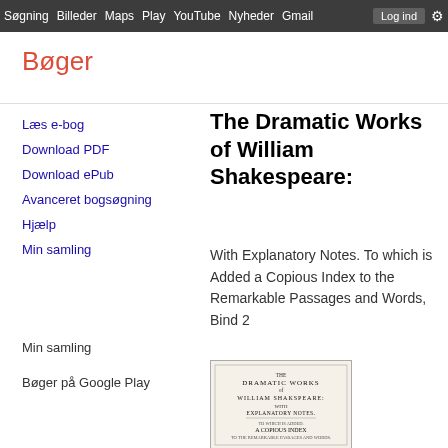Søgning  Billeder  Maps  Play  YouTube  Nyheder  Gmail  Log ind  [gear icon]
Bøger
Læs e-bog
Download PDF
Download ePub
Avanceret bogsøgning
Hjælp
Min samling
Min samling
Bøger på Google Play
The Dramatic Works of William Shakespeare:
With Explanatory Notes. To which is Added a Copious Index to the Remarkable Passages and Words, Bind 2
[Figure (illustration): Book cover of The Dramatic Works of William Shakespeare showing title page with text: THE DRAMATIC WORKS of WILLIAM SHAKSPEARE: WITH EXPLANATORY NOTES. A COPIOUS INDEX]